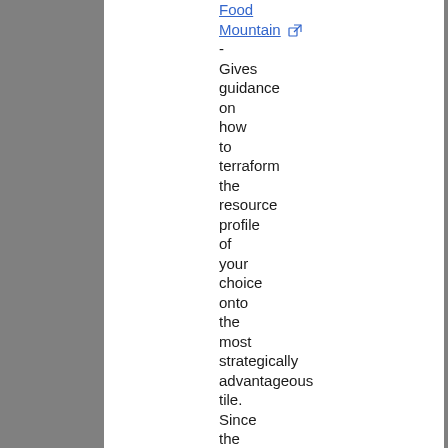Food Mountain - Gives guidance on how to terraform the resource profile of your choice onto the most strategically advantageous tile. Since the